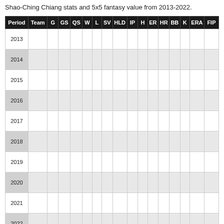Shao-Ching Chiang stats and 5x5 fantasy value from 2013-2022.
| Period | Team | G | GS | QS | W | L | SV | HLD | IP | H | ER | HR | BB | K | ERA | FIP |
| --- | --- | --- | --- | --- | --- | --- | --- | --- | --- | --- | --- | --- | --- | --- | --- | --- |
| 2013 |  |  |  |  |  |  |  |  |  |  |  |  |  |  |  |  |
| 2014 |  |  |  |  |  |  |  |  |  |  |  |  |  |  |  |  |
| 2015 |  |  |  |  |  |  |  |  |  |  |  |  |  |  |  |  |
| 2016 |  |  |  |  |  |  |  |  |  |  |  |  |  |  |  |  |
| 2017 |  |  |  |  |  |  |  |  |  |  |  |  |  |  |  |  |
| 2018 |  |  |  |  |  |  |  |  |  |  |  |  |  |  |  |  |
| 2019 |  |  |  |  |  |  |  |  |  |  |  |  |  |  |  |  |
| 2020 |  |  |  |  |  |  |  |  |  |  |  |  |  |  |  |  |
| 2021 |  |  |  |  |  |  |  |  |  |  |  |  |  |  |  |  |
| 2022 |  |  |  |  |  |  |  |  |  |  |  |  |  |  |  |  |
Shao-Ching Chiang Stats | Monthly